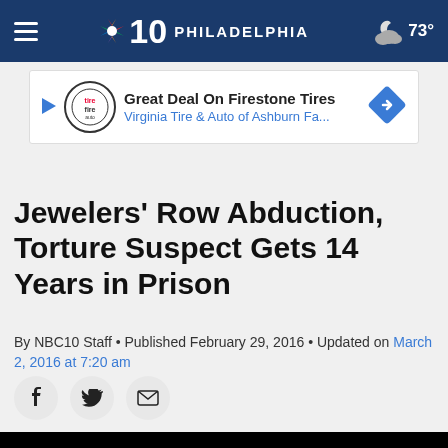NBC10 Philadelphia  73°
[Figure (screenshot): Advertisement banner: Great Deal On Firestone Tires - Virginia Tire & Auto of Ashburn Fa...]
Jewelers' Row Abduction, Torture Suspect Gets 14 Years in Prison
By NBC10 Staff • Published February 29, 2016 • Updated on March 2, 2016 at 7:20 am
[Figure (screenshot): Social share icons: Facebook, Twitter, Email]
[Figure (screenshot): Black video player area with play button circle]